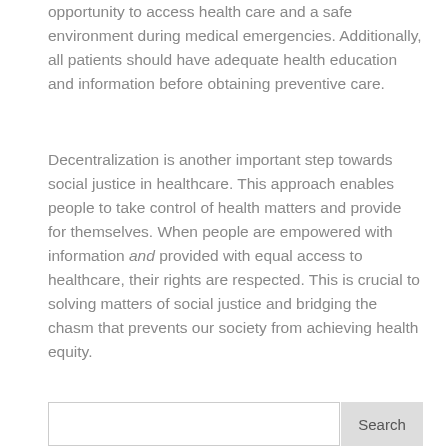opportunity to access health care and a safe environment during medical emergencies. Additionally, all patients should have adequate health education and information before obtaining preventive care.
Decentralization is another important step towards social justice in healthcare. This approach enables people to take control of health matters and provide for themselves. When people are empowered with information and provided with equal access to healthcare, their rights are respected. This is crucial to solving matters of social justice and bridging the chasm that prevents our society from achieving health equity.